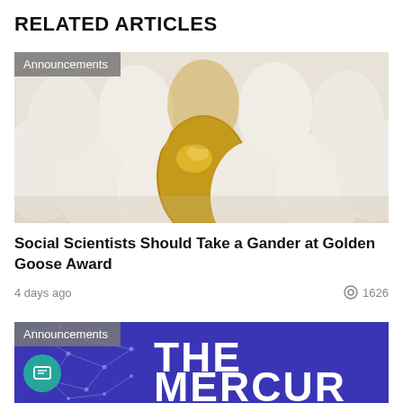RELATED ARTICLES
[Figure (photo): Photo of white eggs with one golden egg in the center, with an 'Announcements' badge overlay]
Social Scientists Should Take a Gander at Golden Goose Award
4 days ago                            1626
[Figure (photo): Blue banner image with 'THE MERCURY' text in white, with network/constellation graphic on left side, and an 'Announcements' badge overlay]